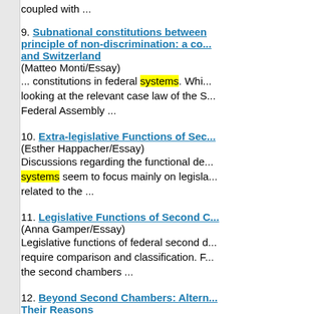coupled with ...
9. Subnational constitutions between principle of non-discrimination: a co... and Switzerland (Matteo Monti/Essay) ... constitutions in federal systems. Whi... looking at the relevant case law of the S... Federal Assembly ...
10. Extra-legislative Functions of Sec... (Esther Happacher/Essay) Discussions regarding the functional de... systems seem to focus mainly on legisla... related to the ...
11. Legislative Functions of Second C... (Anna Gamper/Essay) Legislative functions of federal second d... require comparison and classification. F... the second chambers ...
12. Beyond Second Chambers: Altern... Their Reasons (Francesco Palermo/Essay) The paper contends that bicameral syste... powers, are unfit to represent territorial ... in some ...
13. Shared Rule vs Self-Rule? Bicam...